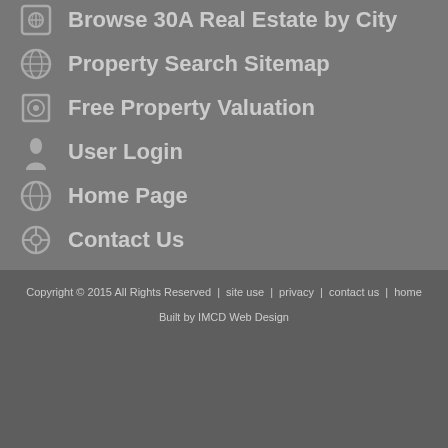Browse 30A Real Estate by City
Property Search Sitemap
Free Property Valuation
User Login
Home Page
Contact Us
Copyright © 2015 All Rights Reserved | site use | privacy | contact us | home
Built by IMCD Web Design
[Figure (logo): Equal Housing Opportunity logo]
[Figure (logo): REALTOR logo]